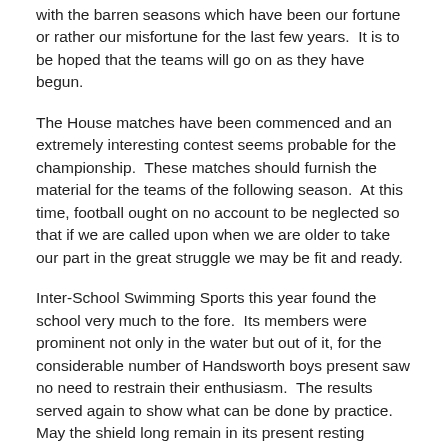with the barren seasons which have been our fortune or rather our misfortune for the last few years.  It is to be hoped that the teams will go on as they have begun.
The House matches have been commenced and an extremely interesting contest seems probable for the championship.  These matches should furnish the material for the teams of the following season.  At this time, football ought on no account to be neglected so that if we are called upon when we are older to take our part in the great struggle we may be fit and ready.
Inter-School Swimming Sports this year found the school very much to the fore.  Its members were prominent not only in the water but out of it, for the considerable number of Handsworth boys present saw no need to restrain their enthusiasm.  The results served again to show what can be done by practice.  May the shield long remain in its present resting